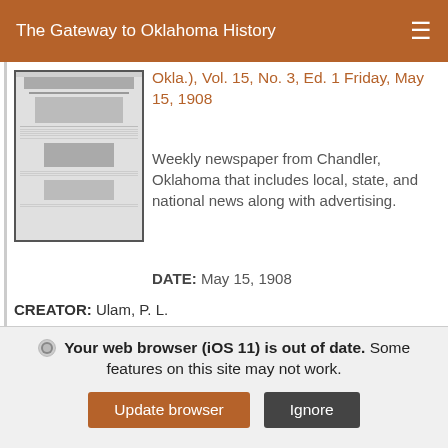The Gateway to Oklahoma History
Okla.), Vol. 15, No. 3, Ed. 1 Friday, May 15, 1908
Weekly newspaper from Chandler, Oklahoma that includes local, state, and national news along with advertising.
DATE: May 15, 1908
[Figure (photo): Thumbnail image of a historical newspaper front page]
CREATOR: Ulam, P. L.
ITEM TYPE: Newspaper
PARTNER: Oklahoma Historical Society
Your web browser (iOS 11) is out of date. Some features on this site may not work.